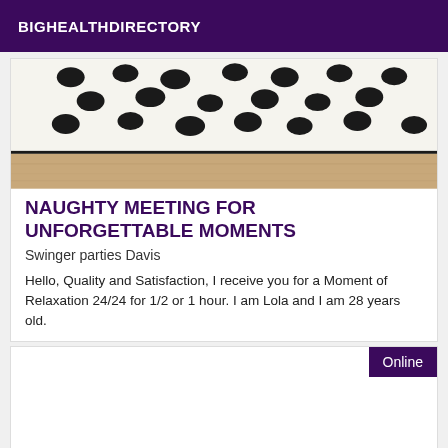BIGHEALTHDIRECTORY
[Figure (photo): Close-up photo of a white rug with black polka dots on a wooden floor]
NAUGHTY MEETING FOR UNFORGETTABLE MOMENTS
Swinger parties Davis
Hello, Quality and Satisfaction, I receive you for a Moment of Relaxation 24/24 for 1/2 or 1 hour. I am Lola and I am 28 years old.
Online